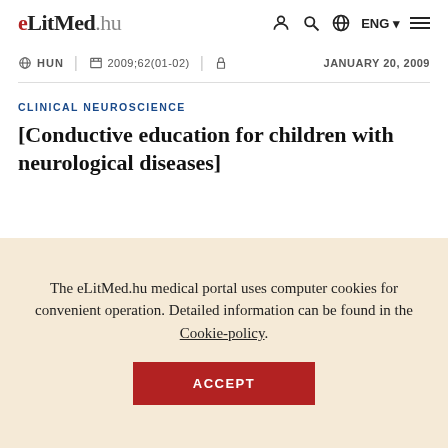eLitMed.hu — navigation bar with ENG, search, user, language, menu icons
HUN | 2009;62(01-02) | JANUARY 20, 2009
CLINICAL NEUROSCIENCE
[Conductive education for children with neurological diseases]
The eLitMed.hu medical portal uses computer cookies for convenient operation. Detailed information can be found in the Cookie-policy.
ACCEPT